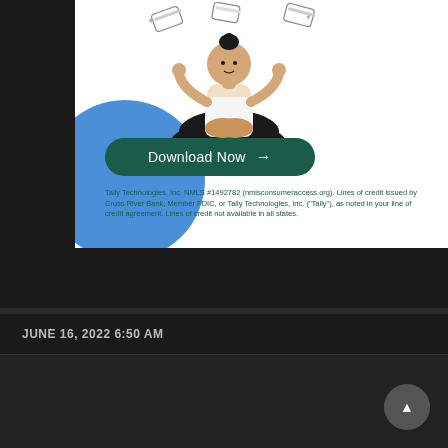[Figure (illustration): Advertisement for Tally Technologies app showing a meditating woman in lotus pose with credit cards floating around her, a blue circle decoration, and a 'Download Now' button on a white background.]
Tally Technologies, Inc. NMLS #1492782 (nmlsconsumeraccess.org). Lines of credit issued by Cross River Bank, Member FDIC, or Tally Technologies, Inc. ("Tally"), as noted in your line of credit agreement. Lines of credit not available in all states.
JUNE 16, 2022 6:50 AM
Shubham Banerjee